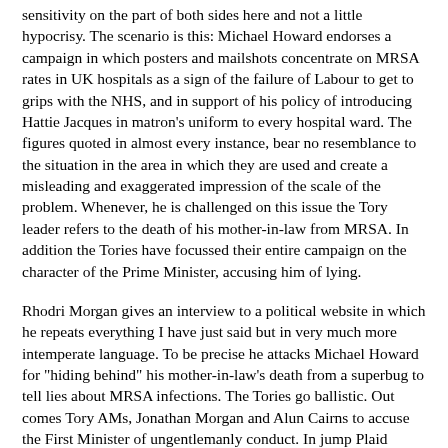sensitivity on the part of both sides here and not a little hypocrisy. The scenario is this: Michael Howard endorses a campaign in which posters and mailshots concentrate on MRSA rates in UK hospitals as a sign of the failure of Labour to get to grips with the NHS, and in support of his policy of introducing Hattie Jacques in matron's uniform to every hospital ward. The figures quoted in almost every instance, bear no resemblance to the situation in the area in which they are used and create a misleading and exaggerated impression of the scale of the problem. Whenever, he is challenged on this issue the Tory leader refers to the death of his mother-in-law from MRSA. In addition the Tories have focussed their entire campaign on the character of the Prime Minister, accusing him of lying.
Rhodri Morgan gives an interview to a political website in which he repeats everything I have just said but in very much more intemperate language. To be precise he attacks Michael Howard for "hiding behind" his mother-in-law's death from a superbug to tell lies about MRSA infections. The Tories go ballistic. Out comes Tory AMs, Jonathan Morgan and Alun Cairns to accuse the First Minister of ungentlemanly conduct. In jump Plaid Cymru to accuse him